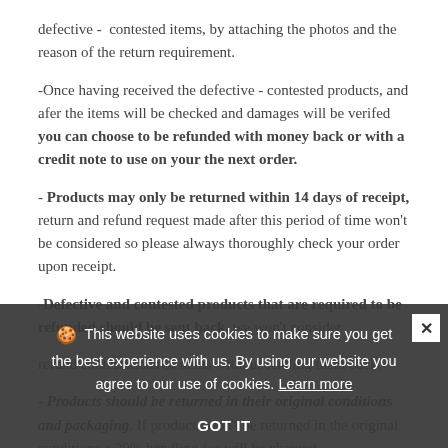defective - contested items, by attaching the photos and the reason of the return requirement.
-Once having received the defective - contested products, and afer the items will be checked and damages will be verifed you can choose to be refunded with money back or with a credit note to use on your the next order.
- Products may only be returned within 14 days of receipt, return and refund request made after this period of time won't be considered so please always thoroughly check your order upon receipt.
-Defective and contested products that are required to be refunded should be sent back, we won't consider refund contestations of items without sending them back.
- Products should be returned in their original conditions and packaging. If products won't be returned in the original conditions a 20% handling fee will be charged